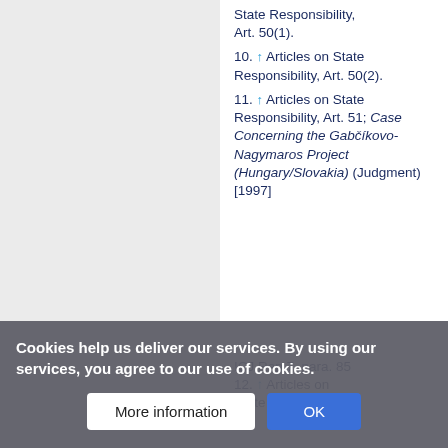10. ↑ Articles on State Responsibility, Art. 50(2).
11. ↑ Articles on State Responsibility, Art. 51; Case Concerning the Gabčíkovo-Nagymaros Project (Hungary/Slovakia) (Judgment) [1997] ICJ Rep 7, para. 85
12. ↑ Articles on State Responsibility,